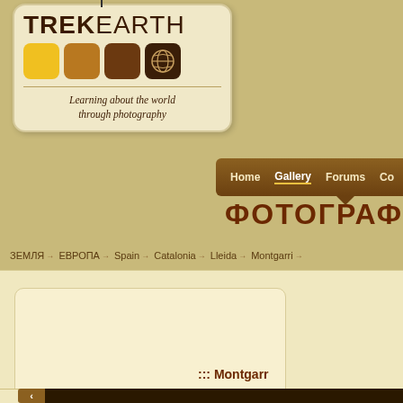[Figure (logo): TrekEarth logo — tag-shaped badge with TREK EARTH text, four colored squares (yellow, golden-brown, dark brown, very dark brown with world map icon), tagline 'Learning about the world through photography']
Home  Gallery  Forums  Co
ФОТОГРАФИИ
ЗЕМЛЯ → ЕВРОПА → Spain → Catalonia → Lleida → Montgarri →
::: Montgarr